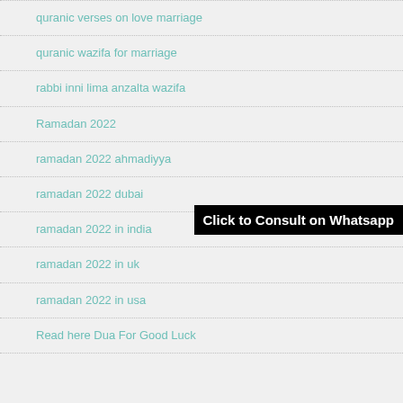quranic verses on love marriage
quranic wazifa for marriage
rabbi inni lima anzalta wazifa
Ramadan 2022
ramadan 2022 ahmadiyya
ramadan 2022 dubai
ramadan 2022 in india
ramadan 2022 in uk
ramadan 2022 in usa
Read here Dua For Good Luck
Click to Consult on Whatsapp